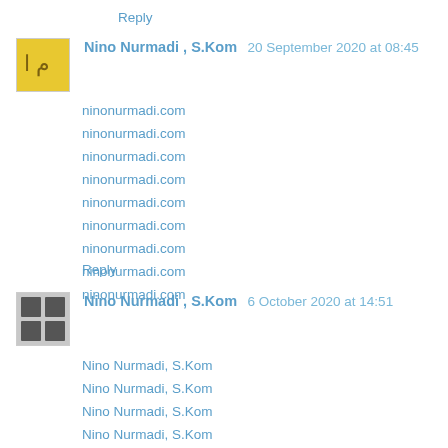Reply
Nino Nurmadi , S.Kom  20 September 2020 at 08:45
ninonurmadi.com
ninonurmadi.com
ninonurmadi.com
ninonurmadi.com
ninonurmadi.com
ninonurmadi.com
ninonurmadi.com
ninonurmadi.com
ninonurmadi.com
Reply
Nino Nurmadi , S.Kom  6 October 2020 at 14:51
Nino Nurmadi, S.Kom
Nino Nurmadi, S.Kom
Nino Nurmadi, S.Kom
Nino Nurmadi, S.Kom